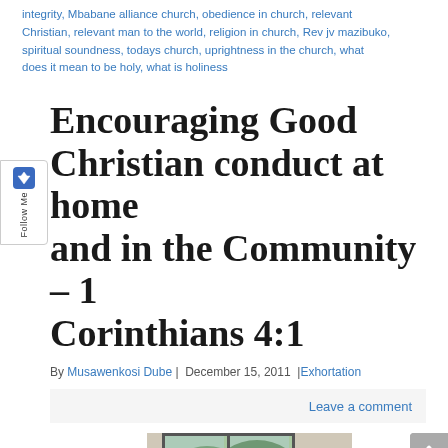integrity, Mbabane alliance church, obedience in church, relevant Christian, relevant man to the world, religion in church, Rev jv mazibuko, spiritual soundness, todays church, uprightness in the church, what does it mean to be holy, what is holiness
Encouraging Good Christian conduct at home and in the Community – 1 Corinthians 4:1
By Musawenkosi Dube | December 15, 2011 | Exhortation
Leave a comment
[Figure (photo): Interior photo showing large glass windows looking out to green trees/garden]